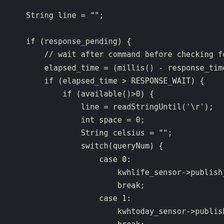String line = "";

if (response_pending) {
    // wait after command before checking for
    elapsed_time = (millis() - response_time)
    if (elapsed_time > RESPONSE_WAIT) {
        if (available()>0) {
            line = readStringUntil('\r');
            int space = 0;
            String celsius = "";
            switch(queryNum) {
                case 0:
                    kwhlife_sensor->publish_state(lin
                    break;
                case 1:
                    kwhtoday_sensor->publish_state(li
                    break;
                case 2:
                    pin_sensor->publish_state(line.to
                    break;
                case 3: